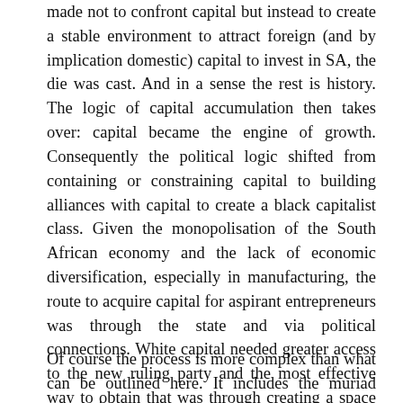made not to confront capital but instead to create a stable environment to attract foreign (and by implication domestic) capital to invest in SA, the die was cast. And in a sense the rest is history. The logic of capital accumulation then takes over: capital became the engine of growth. Consequently the political logic shifted from containing or constraining capital to building alliances with capital to create a black capitalist class. Given the monopolisation of the South African economy and the lack of economic diversification, especially in manufacturing, the route to acquire capital for aspirant entrepreneurs was through the state and via political connections. White capital needed greater access to the new ruling party and the most effective way to obtain that was through creating a space for black economic enrichment.
Of course the process is more complex than what can be outlined here. It includes the muriad connections